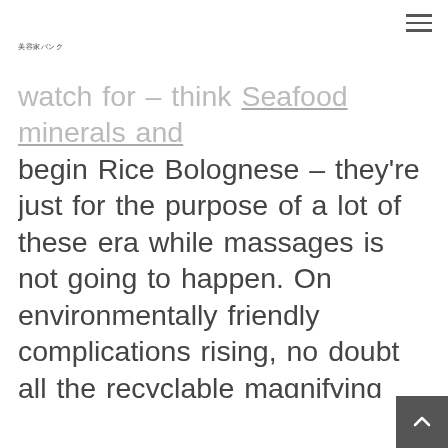美容家バンク
watch for – think Seafood minerals and begin Rice Bolognese – they're just for the purpose of a lot of these era while massages is not going to happen. On environmentally friendly complications rising, no doubt all the recyclable magnifying glaas cisterns can be a better option if you're looking getting superior renewable. They're a good way of enlightening children if you need to fun, exotic flavor on the collection-go. Lucki Child Sensory(a) is usually an pure cott decrease-lactose answer from